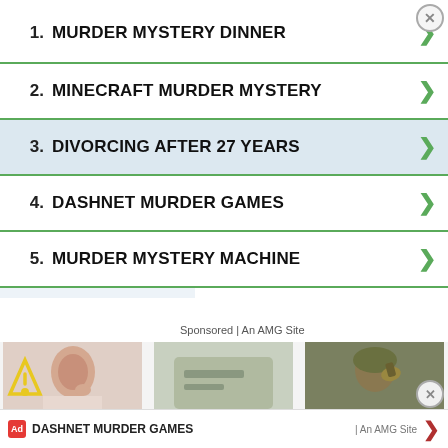Join Nancy Grace for her new online video series designed to help you protect what you love most – your children.
1. MURDER MYSTERY DINNER
2. MINECRAFT MURDER MYSTERY
3. DIVORCING AFTER 27 YEARS
4. DASHNET MURDER GAMES
5. MURDER MYSTERY MACHINE
Sponsored | An AMG Site
[Figure (photo): Woman touching face/chin]
Doctors Stunned! Mole & Skin
Mole & Skin Tag Remo...
[Figure (photo): Placeholder for Hands Down the Top Credit Card]
Hands Down the Top Credit Card
CompareCredit
[Figure (photo): Soldier drinking water]
Camp Lejeune Residents
Consumer Coalition
DASHNET MURDER GAMES
Ad | An AMG Site